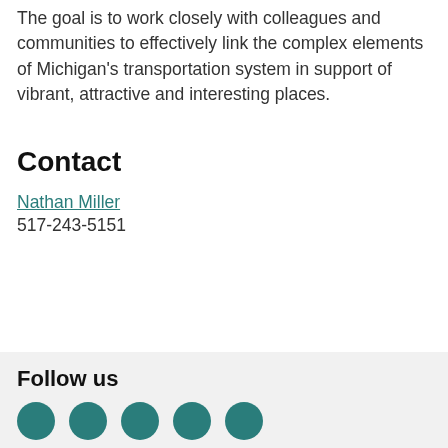The goal is to work closely with colleagues and communities to effectively link the complex elements of Michigan's transportation system in support of vibrant, attractive and interesting places.
Contact
Nathan Miller
517-243-5151
Follow us
[Figure (illustration): Five teal circular social media icon buttons in a row]